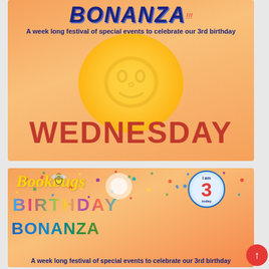[Figure (illustration): Top banner with orange gradient background, large sun-like yellow circle, BONANZA text in blue bold italic at top, subtitle 'A week long festival of special events to celebrate our 3rd birthday', and large red bold WEDNESDAY text center]
[Figure (illustration): Bottom banner with orange/peach gradient background and colorful confetti, Bookbugs logo with bee, colorful BIRTHDAY text, BONANZA text, '3 today' badge, and subtitle 'A week long festival of special events to celebrate our 3rd birthday']